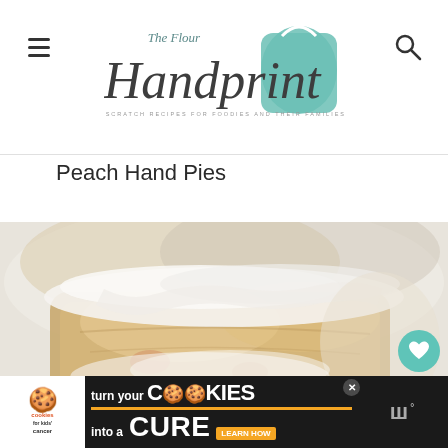The Flour Handprint — FROM SCRATCH RECIPES FOR FOODIES AND THEIR FAMILIES
Peach Hand Pies
[Figure (photo): Close-up photo of peach hand pies with white glaze/icing on top, golden pastry visible, blurred background]
490
[Figure (other): Advertisement banner: cookies for kids cancer — turn your COOKIES into a CURE LEARN HOW]